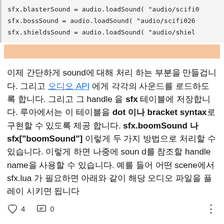sfx.blasterSound = audio.loadSound( "audio/scifi..."
sfx.bossSound = audio.loadSound( "audio/scifi026..."
sfx.shieldsSound = audio.loadSound( "audio/shiel...
[Figure (other): Highlighted/selected line in code block (salmon/orange color bar)]
이제 간단하게 sound에 대해 처리 하는 부분을 만들겁니다. 그리고 오디오 API 에게 각각의 사운드를 로드하도록 합니다. 그리고 그 handle 을 sfx 테이블에 저장합니다. 루아에서는 이 테이블을 dot 이나 bracket syntax로 구현할 수 있도록 제공합니다. sfx.boomSound 나 sfx["boomSound"] 이렇게 두 가지 방법으로 처리할 수 있습니다. 이렇게 하면 나중에 sound를 참조할 handle name을 사용할 수 있습니다. 예를 들어 어떤 scene에서 sfx.lua 가 필요하면 아래와 같이 해당 오디오 파일을 플레이 시키면 됩니다
♡ 4   💬 0   ⋮